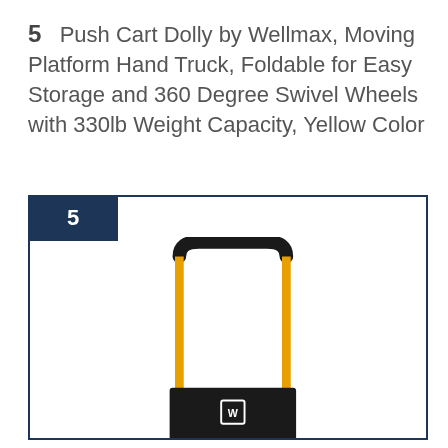5  Push Cart Dolly by Wellmax, Moving Platform Hand Truck, Foldable for Easy Storage and 360 Degree Swivel Wheels with 330lb Weight Capacity, Yellow Color
[Figure (photo): Yellow and black push cart dolly / platform hand truck with foldable handle, 360-degree swivel wheels, and black rubber mat platform. The cart has a yellow metal frame, a black padded crossbar with a logo, and four caster wheels at the base.]